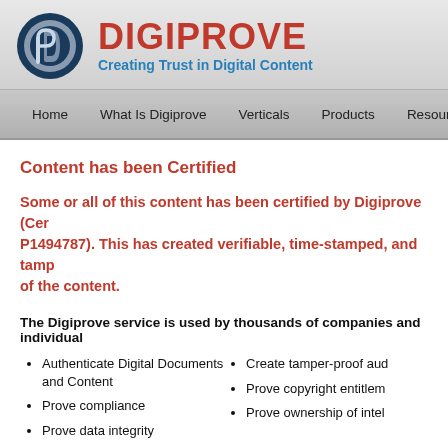[Figure (logo): Digiprove logo: circular dark blue icon with stylized 'dp' letters, followed by 'DIGIPROVE' in bold red and tagline 'Creating Trust in Digital Content' in blue]
Home  What Is Digiprove  Verticals  Products  Resources  Pricing
Content has been Certified
Some or all of this content has been certified by Digiprove (Certificate number P1494787). This has created verifiable, time-stamped, and tamper-proof evidence of the content.
The Digiprove service is used by thousands of companies and individual
Authenticate Digital Documents and Content
Prove compliance
Prove data integrity
Protect legal position
Create tamper-proof aud
Prove copyright entitlem
Prove ownership of intel